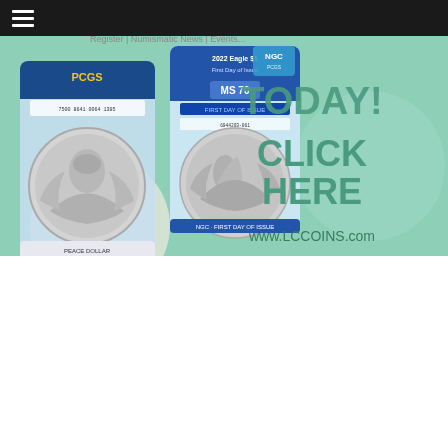Navigation bar with hamburger menu
[Figure (illustration): Advertisement banner for LCCoins.com showing two graded coins in PCGS/NGC slabs (a Peace Dollar and a 2022 American Silver Eagle First Day of Issue MS70) against a mint-green background with decorative circles, text reading 'TODAY! CLICK HERE www.LCCOINS.com']